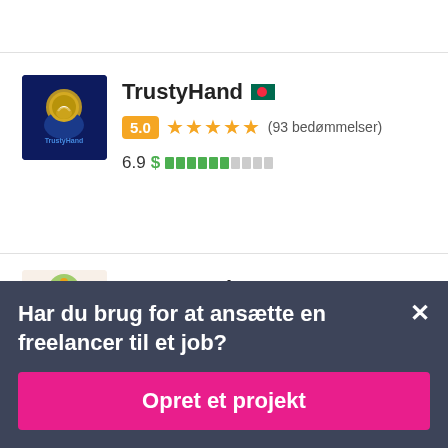[Figure (screenshot): TrustyHand freelancer profile card with logo avatar, 5.0 star rating, 93 reviews, and price indicator 6.9]
TrustyHand
5.0 ★★★★★ (93 bedømmelser)
6.9 $ ▓▓▓▓▓▓░░░
[Figure (screenshot): expertewriter freelancer profile card with tree/flowers avatar logo]
expertewriter
Har du brug for at ansætte en freelancer til et job?
Opret et projekt